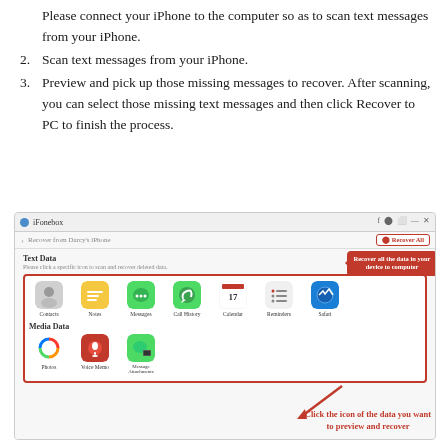Please connect your iPhone to the computer so as to scan text messages from your iPhone.
2. Scan text messages from your iPhone.
3. Preview and pick up those missing messages to recover. After scanning, you can select those missing text messages and then click Recover to PC to finish the process.
[Figure (screenshot): iFonebox application screenshot showing Text Data and Media Data sections with app icons inside a red selection box. A red callout bubble points to 'Recover All' button saying 'Recover all the data in your device to computer'. A red arrow at the bottom right points to the icon grid with text 'Click the icon of the data you want to preview and recover'.]